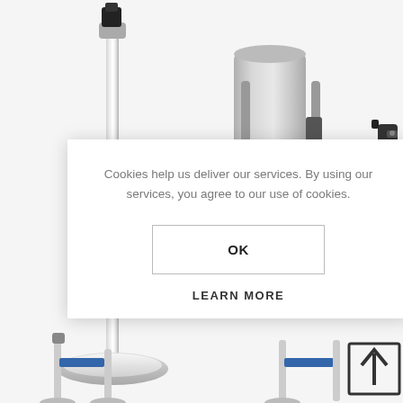[Figure (photo): Product photo showing retractable belt barrier stanchions and wall-mount belt receivers on a white background. Multiple stainless steel posts with retractable blue belts and black wall-mount hardware visible. Bottom portion shows additional smaller product images.]
Cookies help us deliver our services. By using our services, you agree to our use of cookies.
OK
LEARN MORE